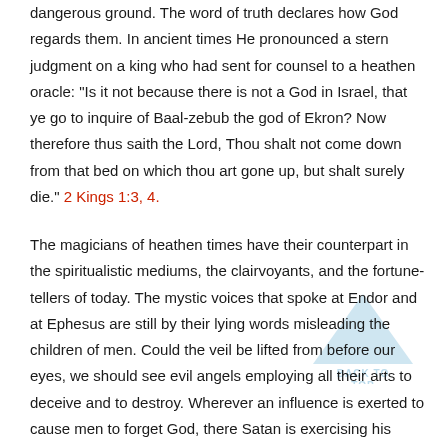dangerous ground. The word of truth declares how God regards them. In ancient times He pronounced a stern judgment on a king who had sent for counsel to a heathen oracle: "Is it not because there is not a God in Israel, that ye go to inquire of Baal-zebub the god of Ekron? Now therefore thus saith the Lord, Thou shalt not come down from that bed on which thou art gone up, but shalt surely die." 2 Kings 1:3, 4.
The magicians of heathen times have their counterpart in the spiritualistic mediums, the clairvoyants, and the fortune-tellers of today. The mystic voices that spoke at Endor and at Ephesus are still by their lying words misleading the children of men. Could the veil be lifted from before our eyes, we should see evil angels employing all their arts to deceive and to destroy. Wherever an influence is exerted to cause men to forget God, there Satan is exercising his bewitching power. When men yield to his influence, ere they are aware the mind is bewildered and the soul polluted. The apostle's admonition to the Ephesian church